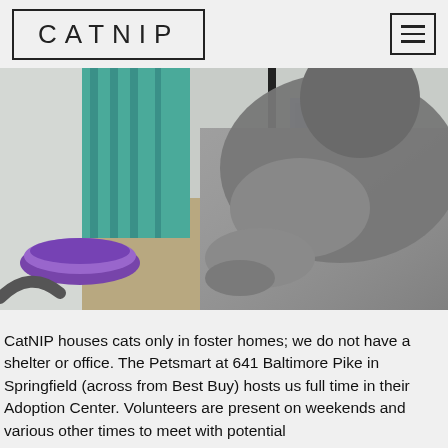CATNIP
[Figure (photo): Close-up photo of a grey cat resting on a grey couch/cushion, viewed from behind/side. A purple food bowl is visible on the floor to the left. In the background are teal/turquoise curtains, a lamp base, and a pair of blue sneakers.]
CatNIP houses cats only in foster homes; we do not have a shelter or office. The Petsmart at 641 Baltimore Pike in Springfield (across from Best Buy) hosts us full time in their Adoption Center. Volunteers are present on weekends and various other times to meet with potential